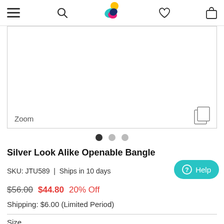Navigation bar with hamburger menu, search icon, logo, wishlist icon, and cart icon
[Figure (photo): Product image area with Zoom label and image/copy icon in bottom corners]
Zoom
● ○ ○ (pagination dots, first dot active)
Silver Look Alike Openable Bangle
SKU: JTU589 | Ships in 10 days
$56.00 $44.80 20% Off
Shipping: $6.00 (Limited Period)
Size